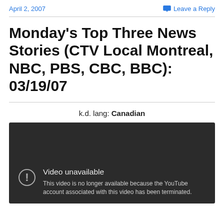April 2, 2007
Leave a Reply
Monday's Top Three News Stories (CTV Local Montreal, NBC, PBS, CBC, BBC): 03/19/07
k.d. lang: Canadian
[Figure (screenshot): Embedded YouTube video player showing 'Video unavailable' error message. Dark background with exclamation icon. Text reads: 'Video unavailable. This video is no longer available because the YouTube account associated with this video has been terminated.']